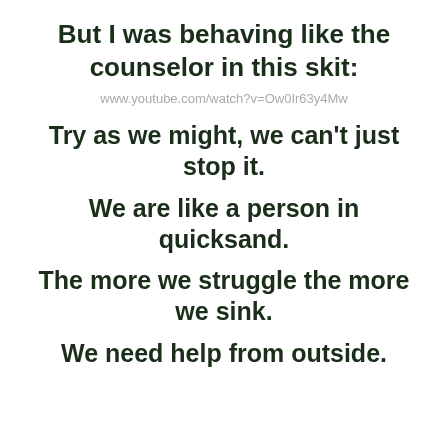But I was behaving like the counselor in this skit:
www.youtube.com/watch?v=Ow0Ir63y4Mw
Try as we might, we can't just stop it.
We are like a person in quicksand.
The more we struggle the more we sink.
We need help from outside.